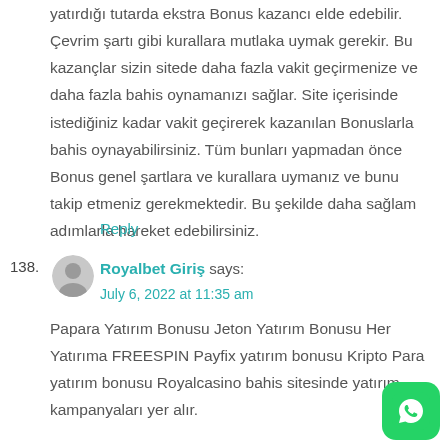yatırdığı tutarda ekstra Bonus kazancı elde edebilir. Çevrim şartı gibi kurallara mutlaka uymak gerekir. Bu kazançlar sizin sitede daha fazla vakit geçirmenize ve daha fazla bahis oynamanızı sağlar. Site içerisinde istediğiniz kadar vakit geçirerek kazanılan Bonuslarla bahis oynayabilirsiniz. Tüm bunları yapmadan önce Bonus genel şartlara ve kurallara uymanız ve bunu takip etmeniz gerekmektedir. Bu şekilde daha sağlam adımlarla hareket edebilirsiniz.
Reply
138. Royalbet Giriş says:
July 6, 2022 at 11:35 am
Papara Yatırım Bonusu Jeton Yatırım Bonusu Her Yatırıma FREESPIN Payfix yatırım bonusu Kripto Para yatırım bonusu Royalcasino bahis sitesinde yatırım kampanyaları yer alır.